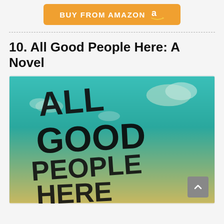[Figure (other): Orange 'Buy from Amazon' button with Amazon logo]
10. All Good People Here: A Novel
[Figure (photo): Book cover of 'All Good People Here' showing large hand-drawn black text on a teal/green sky background with clouds]